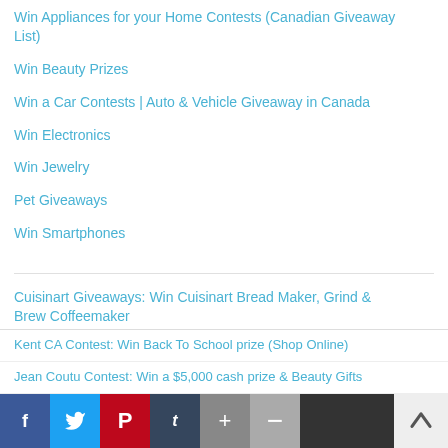Win Appliances for your Home Contests (Canadian Giveaway List)
Win Beauty Prizes
Win a Car Contests | Auto & Vehicle Giveaway in Canada
Win Electronics
Win Jewelry
Pet Giveaways
Win Smartphones
Cuisinart Giveaways: Win Cuisinart Bread Maker, Grind & Brew Coffeemaker
Grace Foods Ca Contest: Win Trip to Jamaica – #AuthenticallyJamaican
Kent CA Contest: Win Back To School prize (Shop Online)
Jean Coutu Contest: Win a $5,000 cash prize & Beauty Gifts